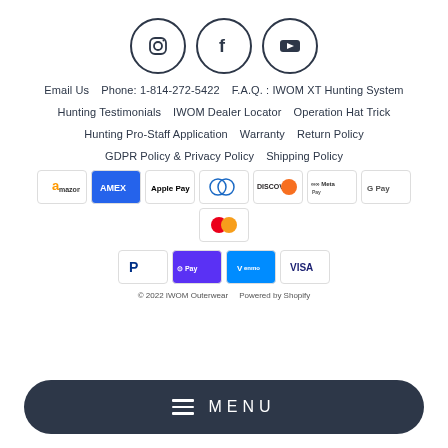[Figure (illustration): Three social media icons in circles: Instagram, Facebook, YouTube]
Email Us   Phone: 1-814-272-5422   F.A.Q. : IWOM XT Hunting System
Hunting Testimonials   IWOM Dealer Locator   Operation Hat Trick
Hunting Pro-Staff Application   Warranty   Return Policy
GDPR Policy & Privacy Policy   Shipping Policy
[Figure (other): Payment method icons: Amazon, Amex, Apple Pay, Diners Club, Discover, Meta Pay, Google Pay, Mastercard, PayPal, Shop Pay, Venmo, Visa]
© 2022 IWOM Outerwear   Powered by Shopify
≡  MENU